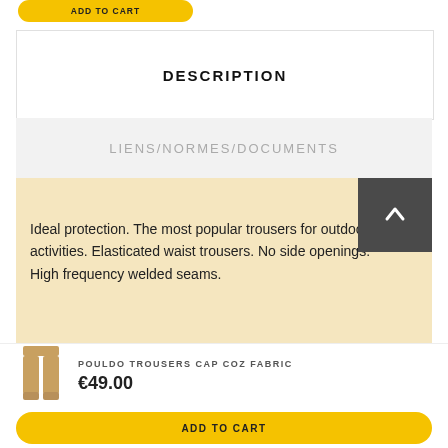[Figure (other): Yellow 'ADD TO CART' button at top]
DESCRIPTION
LIENS/NORMES/DOCUMENTS
Ideal protection. The most popular trousers for outdoor activities. Elasticated waist trousers. No side openings. High frequency welded seams.
[Figure (illustration): Small thumbnail image of beige/tan trousers]
POULDO TROUSERS CAP COZ FABRIC
€49.00
[Figure (other): Yellow 'ADD TO CART' button at bottom]